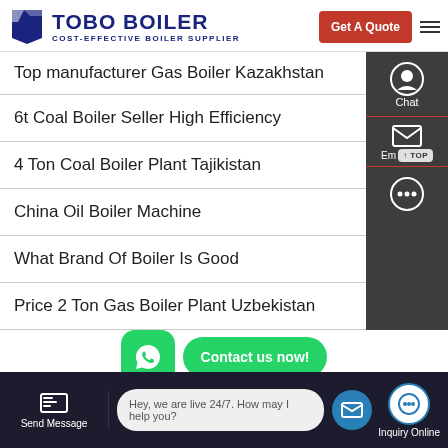[Figure (logo): Tobo Boiler logo with blue navy shield icon and text 'TOBO BOILER - COST-EFFECTIVE BOILER SUPPLIER' with red 'Get A Quote' button and hamburger menu]
Top manufacturer Gas Boiler Kazakhstan
6t Coal Boiler Seller High Efficiency
4 Ton Coal Boiler Plant Tajikistan
China Oil Boiler Machine
What Brand Of Boiler Is Good
Price 2 Ton Gas Boiler Plant Uzbekistan
[Figure (screenshot): WhatsApp green button and green 'Contact us now!' button overlay]
[Figure (screenshot): Website footer bar with Send Message, live chat bubble 'Hey, we are live 24/7. How may I help you?', and Inquiry Online button]